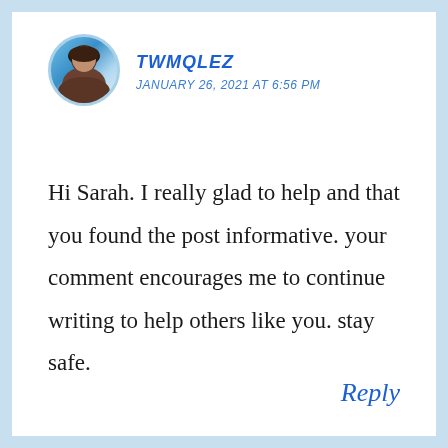[Figure (photo): Circular avatar photo of a person with a blue gradient background]
TWMQLEZ
JANUARY 26, 2021 AT 6:56 PM
Hi Sarah. I really glad to help and that you found the post informative. your comment encourages me to continue writing to help others like you. stay safe.
Reply